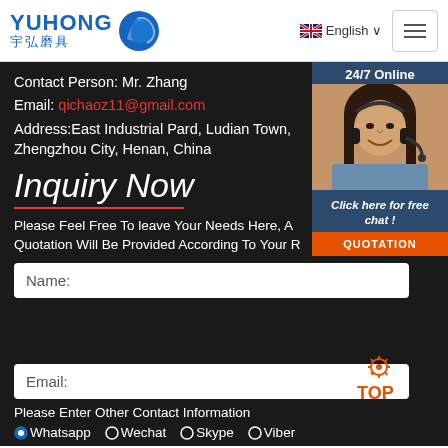YUHONG 宇弘磨具 | English | Menu
Contact Person: Mr. Zhang
Email: qichaoz11@gmail.com
Address:East Industrial Pard, Ludian Town, Zhengzhou City, Henan, China
Inquiry Now
Please Feel Free To leave Your Needs Here, A Quotation Will Be Provided According To Your R
[Figure (photo): Customer service representative wearing headset, smiling. Chat widget with '24/7 Online', 'Click here for free chat!', and 'QUOTATION' button.]
Name:
Email:
Please Enter Other Contact Information
Whatsapp  Wechat  Skype  Viber